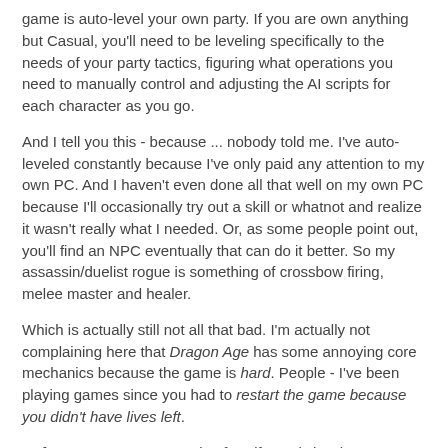game is auto-level your own party. If you are own anything but Casual, you'll need to be leveling specifically to the needs of your party tactics, figuring what operations you need to manually control and adjusting the AI scripts for each character as you go.
And I tell you this - because ... nobody told me. I've auto-leveled constantly because I've only paid any attention to my own PC. And I haven't even done all that well on my own PC because I'll occasionally try out a skill or whatnot and realize it wasn't really what I needed. Or, as some people point out, you'll find an NPC eventually that can do it better. So my assassin/duelist rogue is something of crossbow firing, melee master and healer.
Which is actually still not all that bad. I'm actually not complaining here that Dragon Age has some annoying core mechanics because the game is hard. People - I've been playing games since you had to restart the game because you didn't have lives left.
Before save games. Castle of Wolfenstein hard. Get out